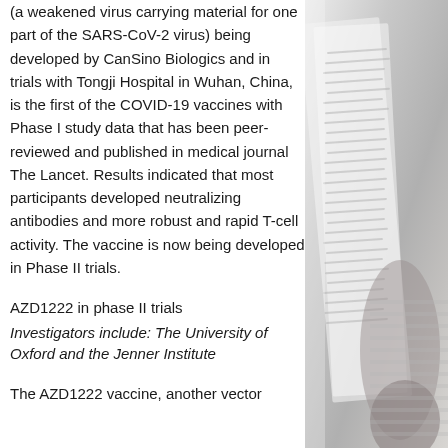(a weakened virus carrying material for one part of the SARS-CoV-2 virus) being developed by CanSino Biologics and in trials with Tongji Hospital in Wuhan, China, is the first of the COVID-19 vaccines with Phase I study data that has been peer-reviewed and published in medical journal The Lancet. Results indicated that most participants developed neutralizing antibodies and more robust and rapid T-cell activity. The vaccine is now being developed in Phase II trials.
AZD1222 in phase II trials
Investigators include: The University of Oxford and the Jenner Institute
The AZD1222 vaccine, another vector
[Figure (photo): A person reading a document or book, seen from the side, wearing a striped shirt. The image is in grayscale/muted tones.]